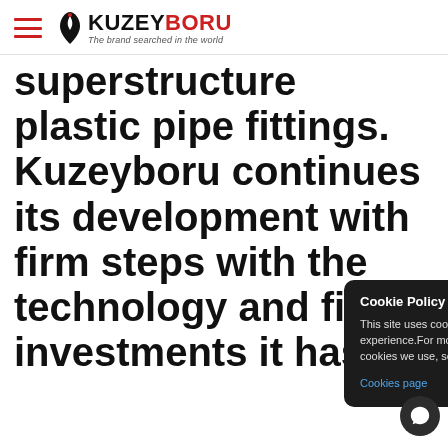KUZEYBORU – The brand searched in the world
superstructure plastic pipe fittings. Kuzeyboru continues its development with firm steps with the technology and field investments it has made. It maint… person… contrib…
Cookie Policy
This site uses cookies to offer you a better browsing experience.For more detailed information about the cookies we use, see our Cookies page